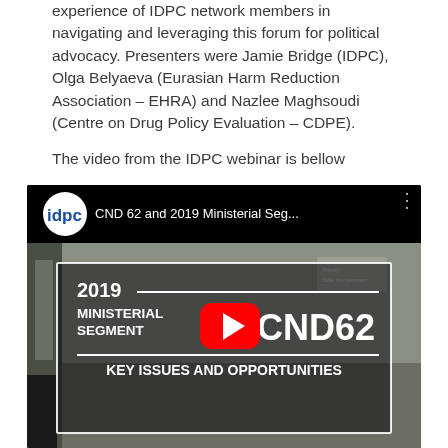experience of IDPC network members in navigating and leveraging this forum for political advocacy. Presenters were Jamie Bridge (IDPC), Olga Belyaeva (Eurasian Harm Reduction Association – EHRA) and Nazlee Maghsoudi (Centre on Drug Policy Evaluation – CDPE).
The video from the IDPC webinar is bellow
[Figure (screenshot): YouTube video embed showing 'CND 62 and 2019 Ministerial Seg...' with IDPC logo in top bar. Video thumbnail shows a conference room background with an overlay card reading '2019 MINISTERIAL SEGMENT | CND62 | KEY ISSUES AND OPPORTUNITIES' with a red YouTube play button in the center.]